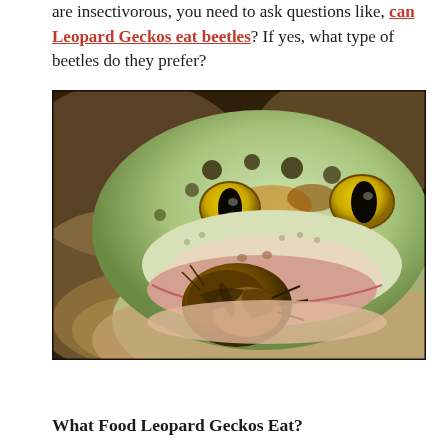are insectivorous, you need to ask questions like, can Leopard Geckos eat beetles? If yes, what type of beetles do they prefer?
[Figure (photo): Close-up photograph of a leopard gecko eating a beetle/insect. The gecko's face fills the frame with distinctive spotted yellow-green scales, large eyes with yellow irises and dark pupils, and a dark brown beetle/cockroach visible at its mouth.]
What Food Leopard Geckos Eat?